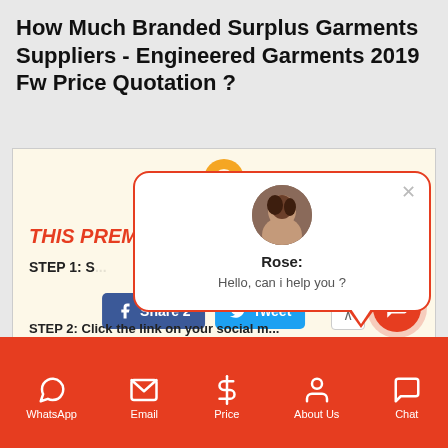How Much Branded Surplus Garments Suppliers - Engineered Garments 2019 Fw Price Quotation ?
[Figure (screenshot): Website content area showing a premium steps infographic with social share buttons (Facebook Share 2, Tweet), partially obscured by a chat popup overlay. The popup shows a female avatar labeled Rose with message 'Hello, can i help you ?'. A red chat bubble icon and scroll-up arrow button are also visible.]
WhatsApp  Email  Price  About Us  Chat